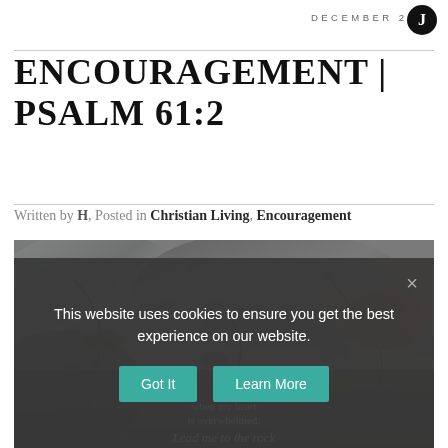DECEMBER 2016
ENCOURAGEMENT | PSALM 61:2
Written by H, Posted in Christian Living, Encouragement
[Figure (photo): Close-up photograph of rocky stone surface with cracks and moss, with overlaid italic scripture text and cookie consent dialog]
This website uses cookies to ensure you get the best experience on our website. Got It  Learn More